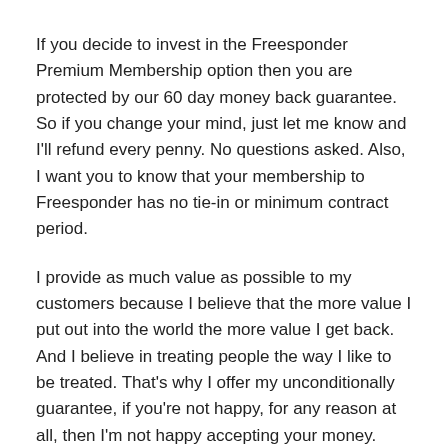If you decide to invest in the Freesponder Premium Membership option then you are protected by our 60 day money back guarantee. So if you change your mind, just let me know and I'll refund every penny. No questions asked. Also, I want you to know that your membership to Freesponder has no tie-in or minimum contract period.
I provide as much value as possible to my customers because I believe that the more value I put out into the world the more value I get back. And I believe in treating people the way I like to be treated. That's why I offer my unconditionally guarantee, if you're not happy, for any reason at all, then I'm not happy accepting your money.
Copyright